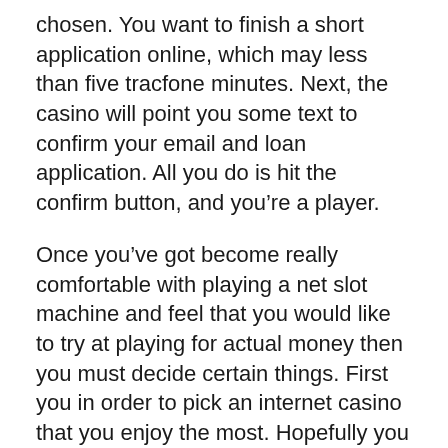chosen. You want to finish a short application online, which may less than five tracfone minutes. Next, the casino will point you some text to confirm your email and loan application. All you do is hit the confirm button, and you’re a player.
Once you’ve got become really comfortable with playing a net slot machine and feel that you would like to try at playing for actual money then you must decide certain things. First you in order to pick an internet casino that you enjoy the most. Hopefully you have tried out at least two or three, and are therefore now accustomed to each consultants.
Something is implied below (partial text cut off at bottom)